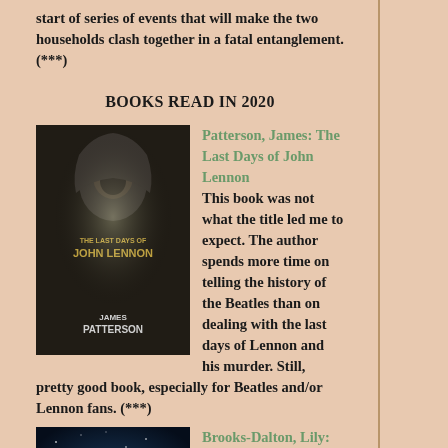start of series of events that will make the two households clash together in a fatal entanglement. (***)
BOOKS READ IN 2020
[Figure (photo): Book cover of 'The Last Days of John Lennon' by James Patterson — dark cover with a hooded figure]
Patterson, James: The Last Days of John Lennon
This book was not what the title led me to expect. The author spends more time on telling the history of the Beatles than on dealing with the last days of Lennon and his murder. Still, pretty good book, especially for Beatles and/or Lennon fans. (***)
[Figure (photo): Book cover of 'Good Morning, Midnight: A Novel' by Lily Brooks-Dalton — dark blue cover with light orbs]
Brooks-Dalton, Lily: Good Morning, Midnight: A Novel
Something catastrophic